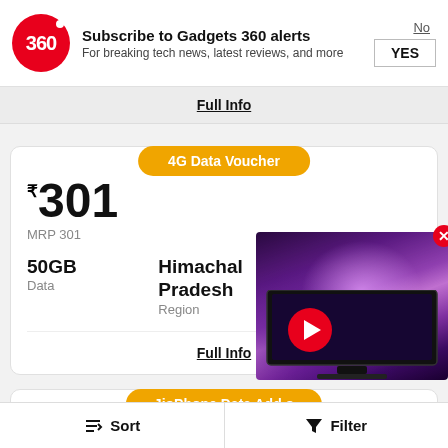[Figure (screenshot): Gadgets 360 notification banner with logo, subscribe text, No and YES buttons]
Full Info
4G Data Voucher
₹301
MRP 301
50GB
Data
Himachal Pradesh
Region
30 Days
Full Info
[Figure (photo): Video thumbnail showing a TV with galaxy/space wallpaper and a red play button overlay]
JioPhone Data Add o
₹122
Sort    Filter